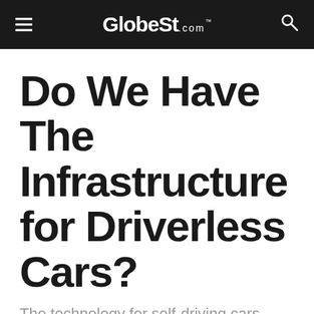GlobeSt.com
Do We Have The Infrastructure for Driverless Cars?
The technology for self-driving cars